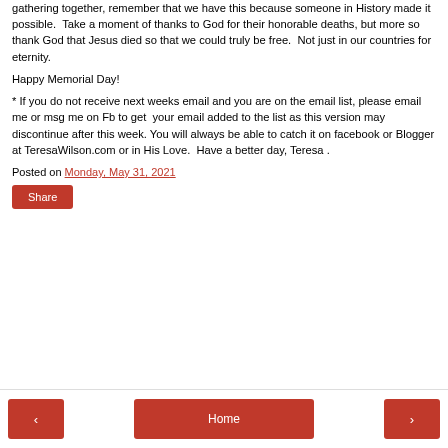gathering together, remember that we have this because someone in History made it possible.  Take a moment of thanks to God for their honorable deaths, but more so thank God that Jesus died so that we could truly be free.  Not just in our countries for eternity.
Happy Memorial Day!
* If you do not receive next weeks email and you are on the email list, please email me or msg me on Fb to get  your email added to the list as this version may discontinue after this week. You will always be able to catch it on facebook or Blogger at TeresaWilson.com or in His Love.  Have a better day, Teresa .
Posted on Monday, May 31, 2021
Share
< Home >